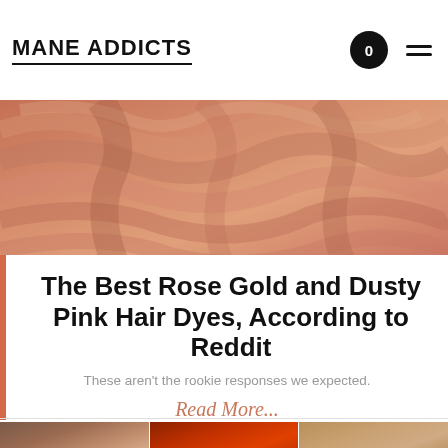MANE ADDICTS
[Figure (photo): Close-up of rose gold / copper-toned wavy hair]
The Best Rose Gold and Dusty Pink Hair Dyes, According to Reddit
These aren't the rookie responses we expected.
Read More...
[Figure (photo): Three thumbnail photos of women with different hair styles and colors: brunette with butterfly clip, woman with vibrant red curly hair, woman with light brown hair with bangs]